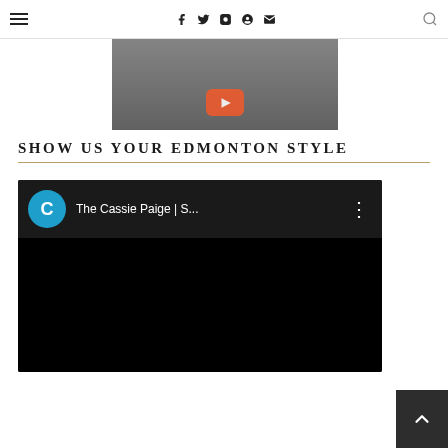Navigation header with hamburger menu, social icons (f, Twitter, Instagram, Pinterest, email) and search
[Figure (screenshot): YouTube video thumbnail showing 'Fall Outfits with La...' from The Cassie Paige channel, with play button visible, showing a person standing outdoors]
SHOW US YOUR EDMONTON STYLE
[Figure (screenshot): Embedded YouTube video player showing 'The Cassie Paige | S...' channel with dark/black video body area]
[Figure (other): Back to top button (dark square with upward chevron arrow) in bottom-right corner]